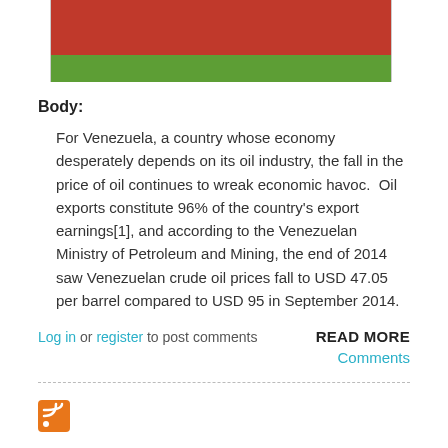[Figure (photo): Partial photo showing a red barrel/drum lying on green grass, cropped at top of page]
Body: For Venezuela, a country whose economy desperately depends on its oil industry, the fall in the price of oil continues to wreak economic havoc.  Oil exports constitute 96% of the country's export earnings[1], and according to the Venezuelan Ministry of Petroleum and Mining, the end of 2014 saw Venezuelan crude oil prices fall to USD 47.05 per barrel compared to USD 95 in September 2014.
Log in or register to post comments
READ MORE
Comments
[Figure (logo): RSS feed icon (orange square with white wifi-style signal lines)]